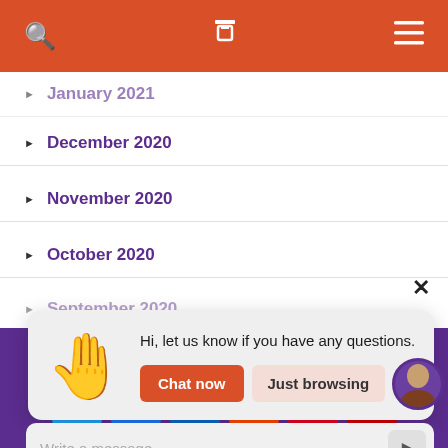January 2021
December 2020
November 2020
October 2020
September 2020
[Figure (screenshot): Chat widget popup with waving hand emoji, message 'Hi, let us know if you have any questions.' and two buttons: 'Chat now' and 'Just browsing']
Write a message...
Accept   Privacy Policy
[Figure (infographic): Social share icons row: Twitter, Facebook, LinkedIn, Reddit, Pinterest, Flipboard]